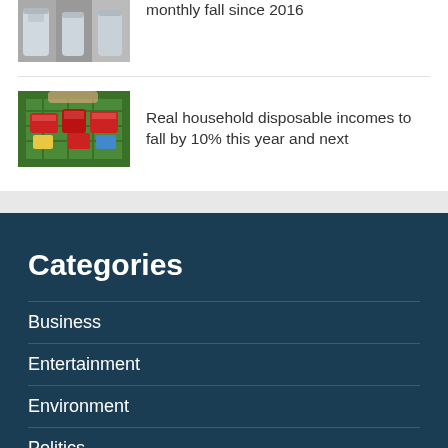monthly fall since 2016
[Figure (photo): Photo of food bank tins/cans]
Real household disposable incomes to fall by 10% this year and next
Categories
Business
Entertainment
Environment
Politics
Science